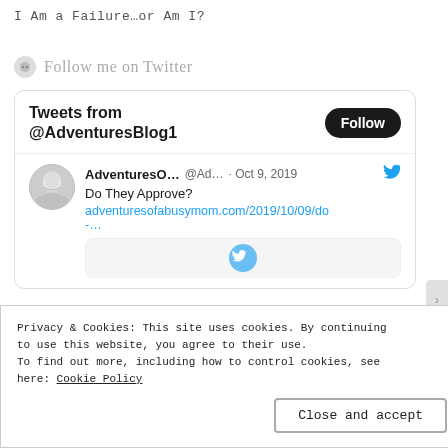I Am a Failure…or Am I?
Follow me on Twitter
[Figure (screenshot): Twitter widget showing Tweets from @AdventuresBlog1 with a Follow button and a tweet from AdventuresO... @Ad... Oct 9, 2019 saying 'Do They Approve?' with link adventuresofabusymom.com/2019/10/09/do-...]
Privacy & Cookies: This site uses cookies. By continuing to use this website, you agree to their use.
To find out more, including how to control cookies, see here: Cookie Policy
Close and accept